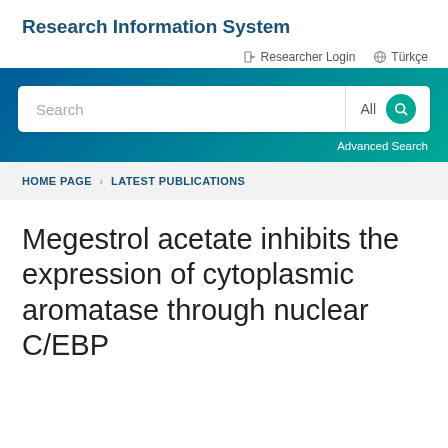Research Information System
Researcher Login   Türkçe
[Figure (screenshot): Search bar with input field, 'All' dropdown, and teal search button, set inside a teal-to-blue gradient banner with 'Advanced Search' link]
HOME PAGE > LATEST PUBLICATIONS
Megestrol acetate inhibits the expression of cytoplasmic aromatase through nuclear C/EBP